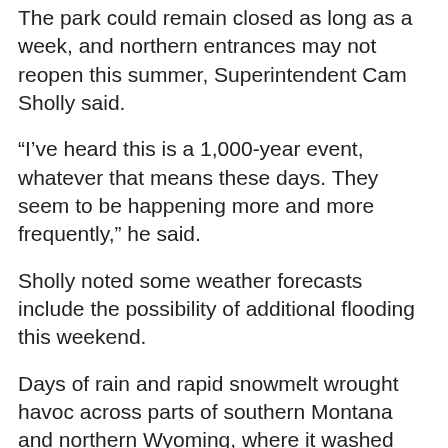The park could remain closed as long as a week, and northern entrances may not reopen this summer, Superintendent Cam Sholly said.
“I’ve heard this is a 1,000-year event, whatever that means these days. They seem to be happening more and more frequently,” he said.
Sholly noted some weather forecasts include the possibility of additional flooding this weekend.
Days of rain and rapid snowmelt wrought havoc across parts of southern Montana and northern Wyoming, where it washed away cabins, swamped small towns and knocked out power. It hit the park as a summer tourist season that draws millions of visitors was ramping up during its 150th anniversary year.
Businesses in hard-hit Gardiner had just started really